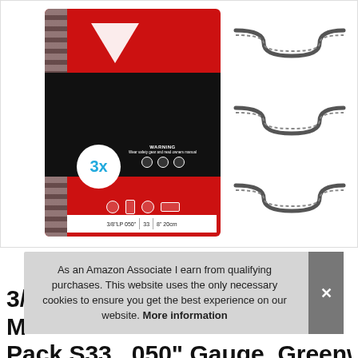[Figure (photo): Product photo showing a package of 3x chainsaw chains (Oregon-style, red/black packaging) with specs 3/8" LP 050" 33 8" 20cm, alongside three individual chainsaw chains laid out in S-shapes on a white background.]
As an Amazon Associate I earn from qualifying purchases. This website uses the only necessary cookies to ensure you get the best experience on our website. More information
3/8" LP 050" 33 Drive Link Low Profile Chainsaw Chain 3 Pack, S33, .050" Gauge, Greenworks 33...